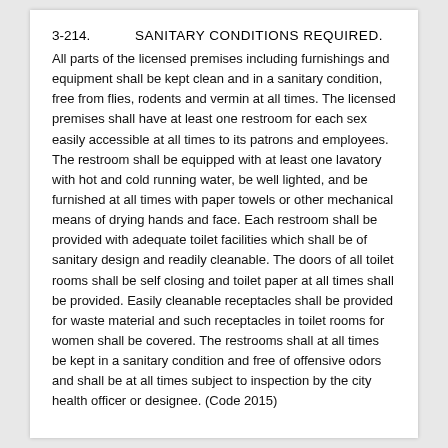3-214. SANITARY CONDITIONS REQUIRED.
All parts of the licensed premises including furnishings and equipment shall be kept clean and in a sanitary condition, free from flies, rodents and vermin at all times. The licensed premises shall have at least one restroom for each sex easily accessible at all times to its patrons and employees. The restroom shall be equipped with at least one lavatory with hot and cold running water, be well lighted, and be furnished at all times with paper towels or other mechanical means of drying hands and face. Each restroom shall be provided with adequate toilet facilities which shall be of sanitary design and readily cleanable. The doors of all toilet rooms shall be self closing and toilet paper at all times shall be provided. Easily cleanable receptacles shall be provided for waste material and such receptacles in toilet rooms for women shall be covered. The restrooms shall at all times be kept in a sanitary condition and free of offensive odors and shall be at all times subject to inspection by the city health officer or designee. (Code 2015)